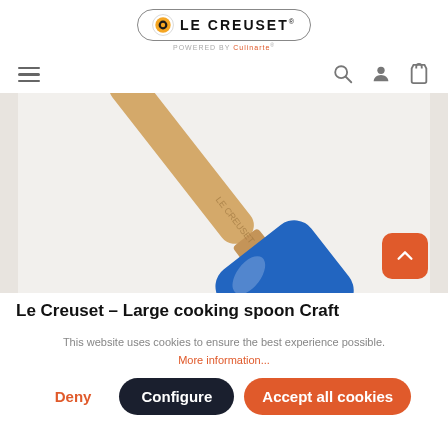[Figure (logo): Le Creuset logo with orange circle icon, text 'LE CREUSET' in bold, superscript trademark, and 'POWERED BY Culinarte' subtitle]
[Figure (screenshot): Navigation bar with hamburger menu on left and search, user, bag icons on right]
[Figure (photo): Product photo of a blue silicone spatula with wooden handle on light grey background]
Le Creuset – Large cooking spoon Craft
This website uses cookies to ensure the best experience possible.
More information...
Deny
Configure
Accept all cookies